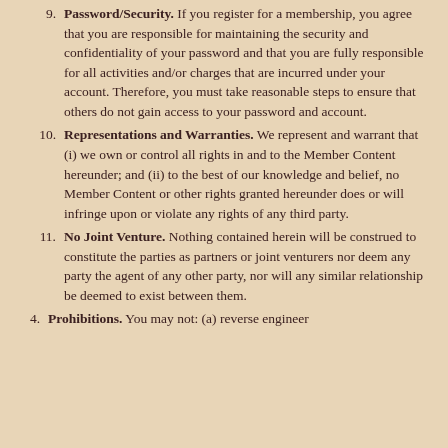9. Password/Security. If you register for a membership, you agree that you are responsible for maintaining the security and confidentiality of your password and that you are fully responsible for all activities and/or charges that are incurred under your account. Therefore, you must take reasonable steps to ensure that others do not gain access to your password and account.
10. Representations and Warranties. We represent and warrant that (i) we own or control all rights in and to the Member Content hereunder; and (ii) to the best of our knowledge and belief, no Member Content or other rights granted hereunder does or will infringe upon or violate any rights of any third party.
11. No Joint Venture. Nothing contained herein will be construed to constitute the parties as partners or joint venturers nor deem any party the agent of any other party, nor will any similar relationship be deemed to exist between them.
4. Prohibitions. You may not: (a) reverse engineer